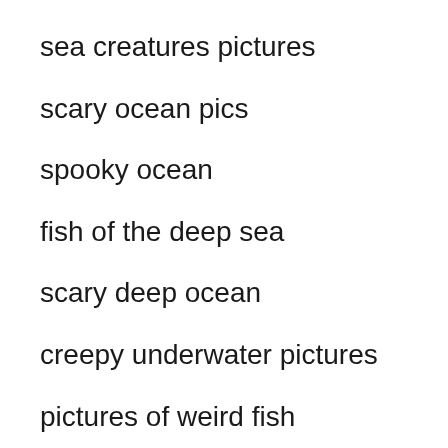sea creatures pictures
scary ocean pics
spooky ocean
fish of the deep sea
scary deep ocean
creepy underwater pictures
pictures of weird fish